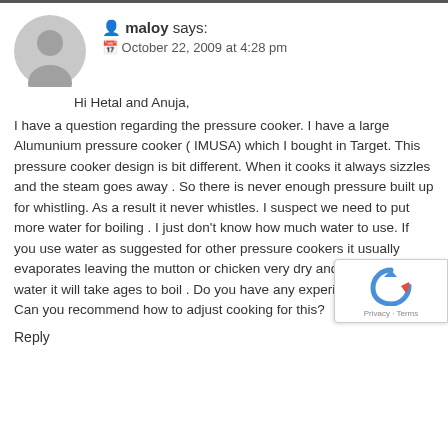maloy says: October 22, 2009 at 4:28 pm
Hi Hetal and Anuja, I have a question regarding the pressure cooker. I have a large Alumunium pressure cooker ( IMUSA) which I bought in Target. This pressure cooker design is bit different. When it cooks it always sizzles and the steam goes away . So there is never enough pressure built up for whistling. As a result it never whistles. I suspect we need to put more water for boiling . I just don't know how much water to use. If you use water as suggested for other pressure cookers it usually evaporates leaving the mutton or chicken very dry and if you put more water it will take ages to boil . Do you have any experience on this? Can you recommend how to adjust cooking for this?
Reply